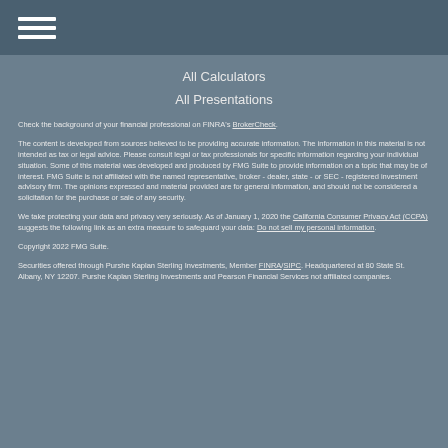All Calculators
All Presentations
Check the background of your financial professional on FINRA's BrokerCheck.
The content is developed from sources believed to be providing accurate information. The information in this material is not intended as tax or legal advice. Please consult legal or tax professionals for specific information regarding your individual situation. Some of this material was developed and produced by FMG Suite to provide information on a topic that may be of interest. FMG Suite is not affiliated with the named representative, broker - dealer, state - or SEC - registered investment advisory firm. The opinions expressed and material provided are for general information, and should not be considered a solicitation for the purchase or sale of any security.
We take protecting your data and privacy very seriously. As of January 1, 2020 the California Consumer Privacy Act (CCPA) suggests the following link as an extra measure to safeguard your data: Do not sell my personal information.
Copyright 2022 FMG Suite.
Securities offered through Purshe Kaplan Sterling Investments, Member FINRA/SIPC. Headquartered at 80 State St. Albany, NY 12207. Purshe Kaplan Sterling Investments and Pearson Financial Services not affiliated companies.